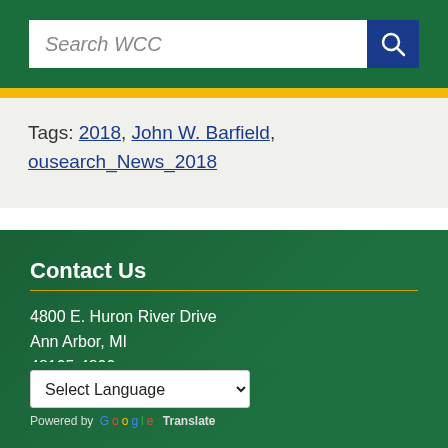Search WCC
Tags: 2018, John W. Barfield, ousearch_News_2018
Contact Us
4800 E. Huron River Drive
Ann Arbor, MI
48105-4800
734-973-3300
info@wccnet.edu
Select Language
Powered by Google Translate